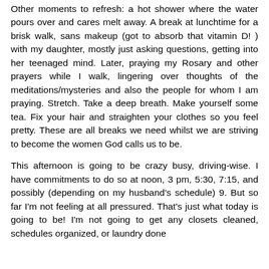Other moments to refresh: a hot shower where the water pours over and cares melt away. A break at lunchtime for a brisk walk, sans makeup (got to absorb that vitamin D! ) with my daughter, mostly just asking questions, getting into her teenaged mind. Later, praying my Rosary and other prayers while I walk, lingering over thoughts of the meditations/mysteries and also the people for whom I am praying. Stretch. Take a deep breath. Make yourself some tea. Fix your hair and straighten your clothes so you feel pretty. These are all breaks we need whilst we are striving to become the women God calls us to be.
This afternoon is going to be crazy busy, driving-wise. I have commitments to do so at noon, 3 pm, 5:30, 7:15, and possibly (depending on my husband's schedule) 9. But so far I'm not feeling at all pressured. That's just what today is going to be! I'm not going to get any closets cleaned, schedules organized, or laundry done